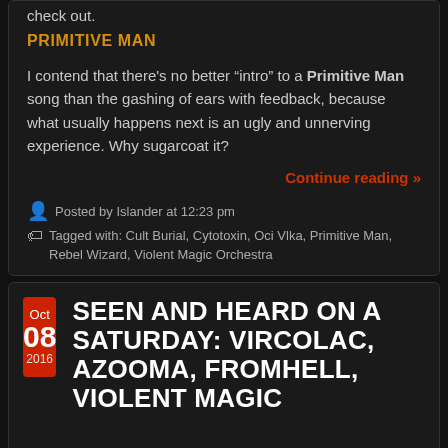check out.
PRIMITIVE MAN
I contend that there's no better “intro” to a Primitive Man song than the gashing of ears with feedback, because what usually happens next is an ugly and unnerving experience. Why sugarcoat it?
Continue reading »
Posted by Islander at 12:23 pm
Tagged with: Cult Burial, Cytotoxin, Oci Vlka, Primitive Man, Rebel Wizard, Violent Magic Orchestra
SEEN AND HEARD ON A SATURDAY: VIRCOLAC, AZOOMA, FROMHELL, VIOLENT MAGIC
Oct 08 2016